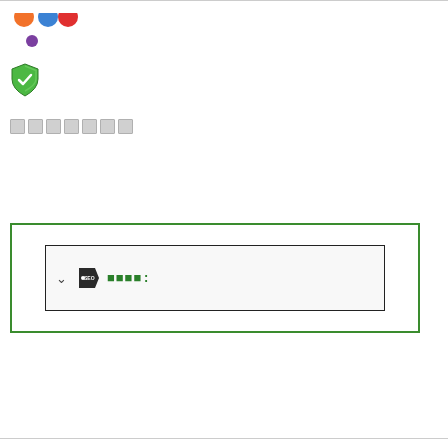[Figure (illustration): Row with colored dots (orange, blue, red) and a purple dot below]
[Figure (logo): Green shield with white checkmark icon]
[Figure (other): Seven gray placeholder squares in a row]
[Figure (screenshot): Large white area with a green-bordered box containing an inner bordered box with a chevron, SEO tag icon, and green text label followed by squares]